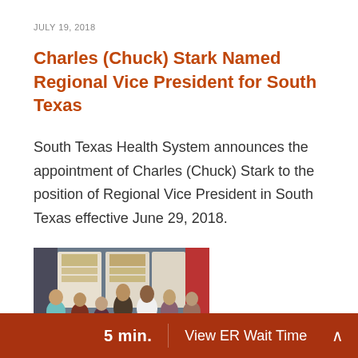JULY 19, 2018
Charles (Chuck) Stark Named Regional Vice President for South Texas
South Texas Health System announces the appointment of Charles (Chuck) Stark to the position of Regional Vice President in South Texas effective June 29, 2018.
[Figure (photo): Group photo of several people holding award plaques at an event, standing in front of display boards. A man in a white coat is visible among the group.]
5 min.   View ER Wait Time